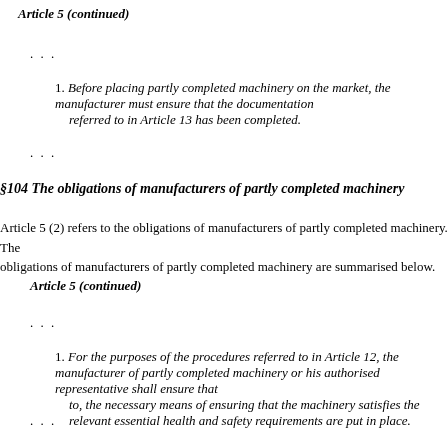Article 5 (continued)
...
1. Before placing partly completed machinery on the market, the manufacturer must ensure that the documentation referred to in Article 13 has been completed.
...
§104 The obligations of manufacturers of partly completed machinery
Article 5 (2) refers to the obligations of manufacturers of partly completed machinery. The obligations of manufacturers of partly completed machinery are summarised below.
Article 5 (continued)
...
1. For the purposes of the procedures referred to in Article 12, the manufacturer of partly completed machinery or his authorised representative shall ensure that the necessary means of ensuring that the machinery satisfies the relevant essential health and safety requirements are put in place.
...